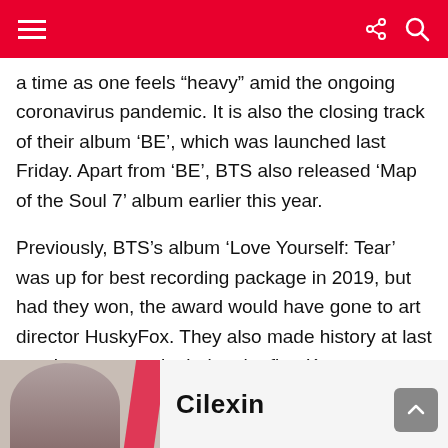Navigation header bar with hamburger menu, share icon, and search icon
a time as one feels “heavy” amid the ongoing coronavirus pandemic. It is also the closing track of their album ‘BE’, which was launched last Friday. Apart from ‘BE’, BTS also released ‘Map of the Soul 7’ album earlier this year.
Previously, BTS’s album ‘Love Yourself: Tear’ was up for best recording package in 2019, but had they won, the award would have gone to art director HuskyFox. They also made history at last year’s ceremony by being the first K-pop group to present an award.
[Figure (photo): Advertisement banner showing a person and the text 'Cilexin']